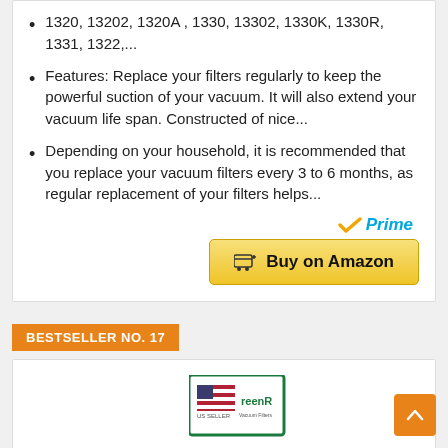1320, 13202, 1320A , 1330, 13302, 1330K, 1330R, 1331, 1322,...
Features: Replace your filters regularly to keep the powerful suction of your vacuum. It will also extend your vacuum life span. Constructed of nice...
Depending on your household, it is recommended that you replace your vacuum filters every 3 to 6 months, as regular replacement of your filters helps...
[Figure (logo): Amazon Prime logo with checkmark and 'Prime' text in blue]
[Figure (other): Buy on Amazon button with shopping cart icon, golden/yellow background]
BESTSELLER NO. 17
[Figure (photo): Product image partially visible - GreenR brand vacuum filter, US Seller badge with American flag]